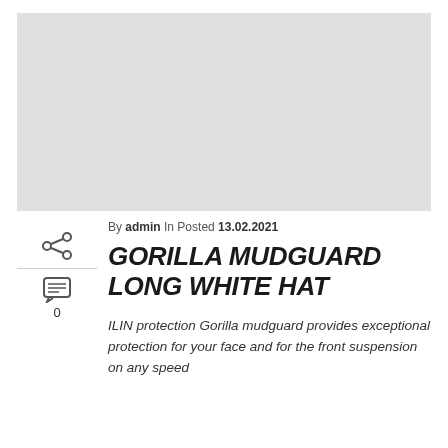[Figure (photo): Large light gray placeholder image area for the Gorilla Mudguard Long White Hat product]
By admin In Posted 13.02.2021
GORILLA MUDGUARD LONG WHITE HAT
ILIN protection Gorilla mudguard provides exceptional protection for your face and for the front suspension on any speed